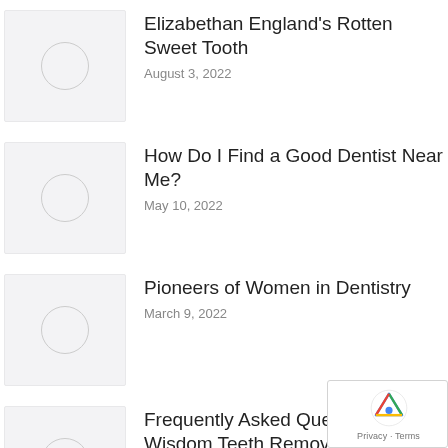[Figure (photo): Placeholder thumbnail image for Elizabethan England's Rotten Sweet Tooth article]
Elizabethan England's Rotten Sweet Tooth
August 3, 2022
[Figure (photo): Placeholder thumbnail image for How Do I Find a Good Dentist Near Me? article]
How Do I Find a Good Dentist Near Me?
May 10, 2022
[Figure (photo): Placeholder thumbnail image for Pioneers of Women in Dentistry article]
Pioneers of Women in Dentistry
March 9, 2022
[Figure (photo): Placeholder thumbnail image for Frequently Asked Questions About Wisdom Teeth Removal Part 1 article]
Frequently Asked Questions About Wisdom Teeth Removal Part 1
November 9, 2021